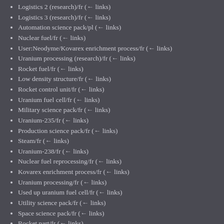Logistics 2 (research)/fr  (← links)
Logistics 3 (research)/fr  (← links)
Automation science pack/pl  (← links)
Nuclear fuel/fr  (← links)
User:Neodyme/Kovarex enrichment process/fr  (← links)
Uranium processing (research)/fr  (← links)
Rocket fuel/fr  (← links)
Low density structure/fr  (← links)
Rocket control unit/fr  (← links)
Uranium fuel cell/fr  (← links)
Military science pack/fr  (← links)
Uranium-235/fr  (← links)
Production science pack/fr  (← links)
Steam/fr  (← links)
Uranium-238/fr  (← links)
Nuclear fuel reprocessing/fr  (← links)
Kovarex enrichment process/fr  (← links)
Uranium processing/fr  (← links)
Used up uranium fuel cell/fr  (← links)
Utility science pack/fr  (← links)
Space science pack/fr  (← links)
Rocket part/fr  (← links)
View (previous 250 | next 250) (20 | 50 | 100 | 250 | 500)